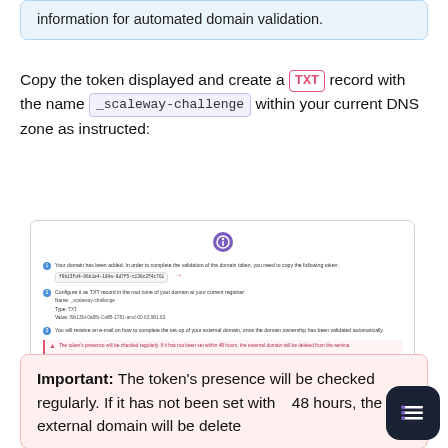information for automated domain validation.
Copy the token displayed and create a TXT record with the name _scaleway-challenge within your current DNS zone as instructed:
[Figure (screenshot): Screenshot of Scaleway domain validation UI showing steps: 1) Domain added, copy token, 2) Configure TXT record (Name: _scaleway-challenge, Type: TXT, Value: TOKEN), 3) Email notification after validation. Warning: token checked regularly, deleted after 48h if not set.]
Important: The token's presence will be checked regularly. If it has not been set within 48 hours, the external domain will be deleted from the service.